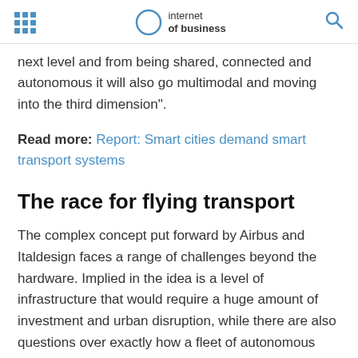internet of business
next level and from being shared, connected and autonomous it will also go multimodal and moving into the third dimension".
Read more: Report: Smart cities demand smart transport systems
The race for flying transport
The complex concept put forward by Airbus and Italdesign faces a range of challenges beyond the hardware. Implied in the idea is a level of infrastructure that would require a huge amount of investment and urban disruption, while there are also questions over exactly how a fleet of autonomous aerial passenger